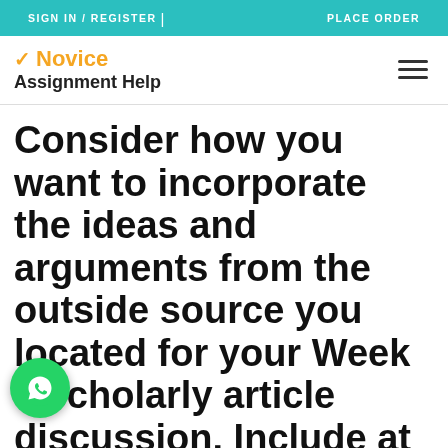SIGN IN / REGISTER | PLACE ORDER
[Figure (logo): Novice Assignment Help logo with orange checkbox icon and hamburger menu icon]
Consider how you want to incorporate the ideas and arguments from the outside source you located for your Week 5 scholarly article discussion. Include at